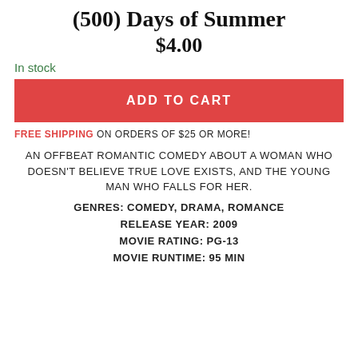(500) Days of Summer
$4.00
In stock
ADD TO CART
FREE SHIPPING ON ORDERS OF $25 OR MORE!
AN OFFBEAT ROMANTIC COMEDY ABOUT A WOMAN WHO DOESN'T BELIEVE TRUE LOVE EXISTS, AND THE YOUNG MAN WHO FALLS FOR HER.
GENRES: COMEDY, DRAMA, ROMANCE
RELEASE YEAR: 2009
MOVIE RATING: PG-13
MOVIE RUNTIME: 95 MIN